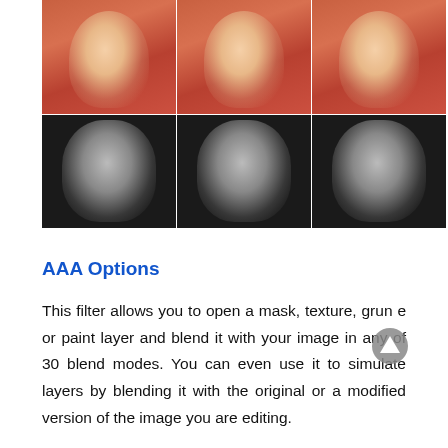[Figure (photo): 3x2 grid of portrait photos. Top row: three nearly identical color photos of a blonde woman (Marilyn Monroe-style) with red lips and pearl earrings on a reddish-pink background. Bottom row: three nearly identical black-and-white photos of a young man (dark hair, goatee) with a serious expression.]
AAA Options
This filter allows you to open a mask, texture, grunge or paint layer and blend it with your image in any of 30 blend modes. You can even use it to simulate layers by blending it with the original or a modified version of the image you are editing.